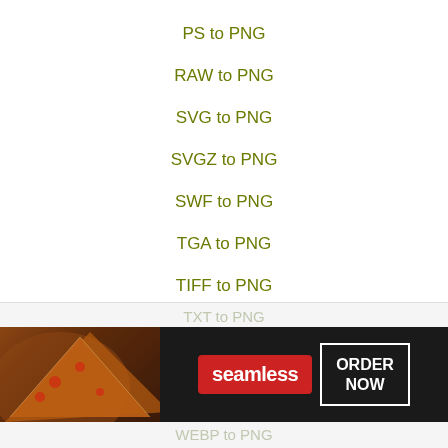PS to PNG
RAW to PNG
SVG to PNG
SVGZ to PNG
SWF to PNG
TGA to PNG
TIFF to PNG
TIF to PNG
TTF to PNG
TXT to PNG
[Figure (photo): Seamless food delivery advertisement banner showing pizza slices with 'seamless' branding and 'ORDER NOW' button]
WEBP to PNG